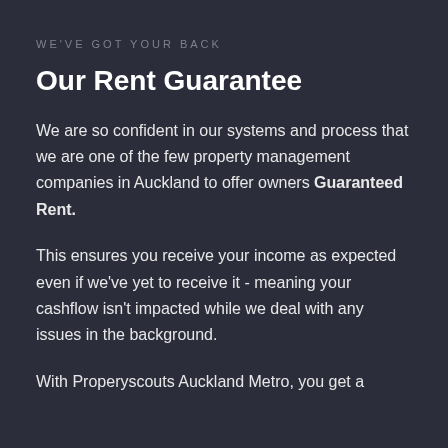WE'VE GOT YOUR BACK
Our Rent Guarantee
We are so confident in our systems and process that we are one of the few property management companies in Auckland to offer owners Guaranteed Rent.
This ensures you receive your income as expected even if we've yet to receive it - meaning your cashflow isn't impacted while we deal with any issues in the background.
With Properyscouts Auckland Metro, you get a